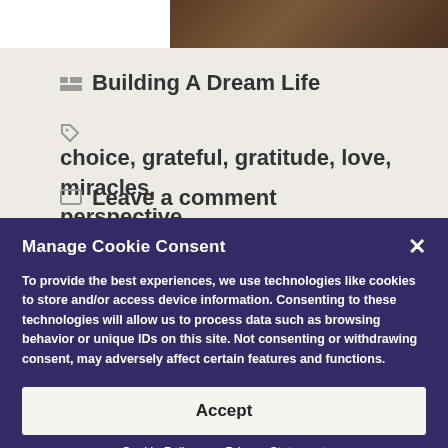[Figure (photo): Partial view of a dark wooden surface / blueprint background image at the top of the page]
Building A Dream Life
choice, grateful, gratitude, love, miracles, perspective
Leave a comment
Manage Cookie Consent
To provide the best experiences, we use technologies like cookies to store and/or access device information. Consenting to these technologies will allow us to process data such as browsing behavior or unique IDs on this site. Not consenting or withdrawing consent, may adversely affect certain features and functions.
Accept
Cookie Policy   Privacy Statement